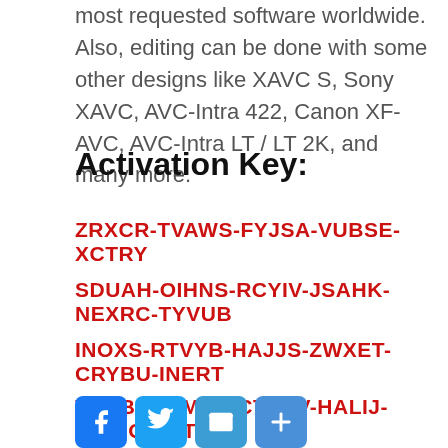most requested software worldwide. Also, editing can be done with some other designs like XAVC S, Sony XAVC, AVC-Intra 422, Canon XF-AVC, AVC-Intra LT / LT 2K, and many more.
Activation Key:
ZRXCR-TVAWS-FYJSA-VUBSE-XCTRY
SDUAH-OIHNS-RCYIV-JSAHK-NEXRC-TYVUB
INOXS-RTVYB-HAJJS-ZWXET-CRYBU-INERT
VYUBI-ONMXR-CTYUV-HALIJ-UBINO-CVTUB
[Figure (infographic): Social sharing icons: Facebook, Twitter, Email, Share]